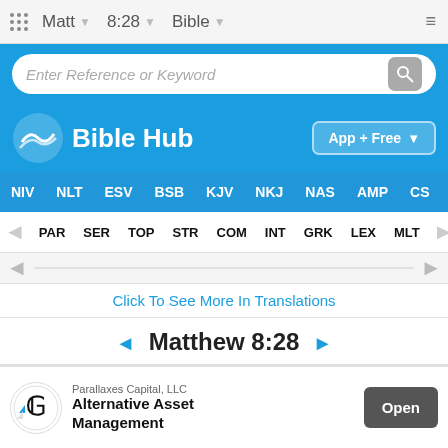Matt  8:28  Bible
Enter Reference or Keyword
Bible Hub
App + Free
NIV  NLT  ESV  BSB  KJV  NKJ  NAS  AMP  CS
PAR  SER  TOP  STR  COM  INT  GRK  LEX  MLT
Click To See More In Translations
◄ Matthew 8:28 ►
Text Analysis
Go to Parallel Greek
Parallaxes Capital, LLC
Alternative Asset Management
Open
Strong  ...  ology
2532